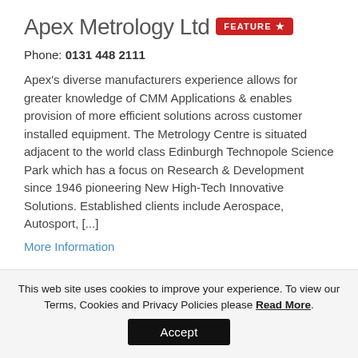Apex Metrology Ltd
Phone: 0131 448 2111
Apex's diverse manufacturers experience allows for greater knowledge of CMM Applications & enables provision of more efficient solutions across customer installed equipment. The Metrology Centre is situated adjacent to the world class Edinburgh Technopole Science Park which has a focus on Research & Development since 1946 pioneering New High-Tech Innovative Solutions. Established clients include Aerospace, Autosport, [...]
More Information
This web site uses cookies to improve your experience. To view our Terms, Cookies and Privacy Policies please Read More.
Accept